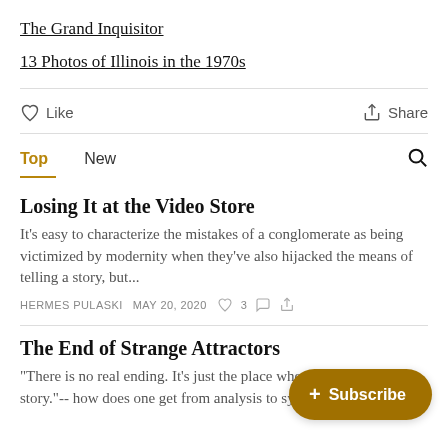The Grand Inquisitor
13 Photos of Illinois in the 1970s
Like
Share
Top   New
Losing It at the Video Store
It's easy to characterize the mistakes of a conglomerate as being victimized by modernity when they've also hijacked the means of telling a story, but...
HERMES PULASKI   MAY 20, 2020   ♡3
The End of Strange Attractors
"There is no real ending. It's just the place where you stop the story."-- how does one get from analysis to synthesizing a
+ Subscribe